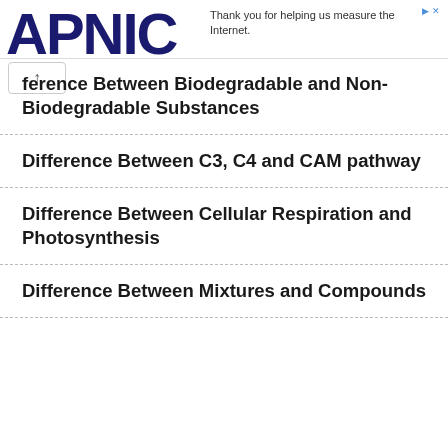Thank you for helping us measure the Internet.
Difference Between Biodegradable and Non-Biodegradable Substances
Difference Between C3, C4 and CAM pathway
Difference Between Cellular Respiration and Photosynthesis
Difference Between Mixtures and Compounds